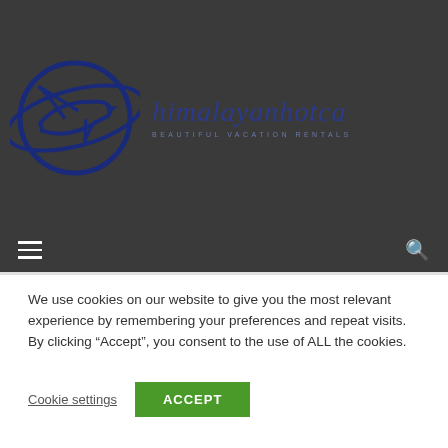[Figure (logo): Himalayan Hotca travel logo: circular globe with airplane silhouette in dark navy blue, with italic text 'himalayanhotca' and tagline 'BEAUTIFUL VACATION RENTALS' in blue]
We use cookies on our website to give you the most relevant experience by remembering your preferences and repeat visits. By clicking “Accept”, you consent to the use of ALL the cookies.
Cookie settings  ACCEPT